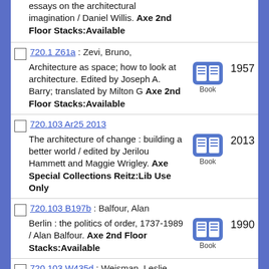essays on the architectural imagination / Daniel Willis. Axe 2nd Floor Stacks:Available
720.1 Z61a : Zevi, Bruno, Architecture as space; how to look at architecture. Edited by Joseph A. Barry; translated by Milton G Axe 2nd Floor Stacks:Available 1957
720.103 Ar25 2013 : The architecture of change : building a better world / edited by Jerilou Hammett and Maggie Wrigley. Axe Special Collections Reitz:Lib Use Only 2013
720.103 B197b : Balfour, Alan Berlin : the politics of order, 1737-1989 / Alan Balfour. Axe 2nd Floor Stacks:Available 1990
720.103 W435d : Weisman, Leslie. Discrimination by design : a feminist critique of the man-made 1992